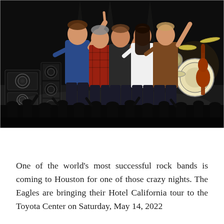[Figure (photo): Five band members of The Eagles standing on a concert stage, waving to the crowd. Stage setup includes amplifiers, speakers, drum kit, and guitars in the background. Audience silhouettes visible in the foreground.]
One of the world's most successful rock bands is coming to Houston for one of those crazy nights. The Eagles are bringing their Hotel California tour to the Toyota Center on Saturday, May 14, 2022